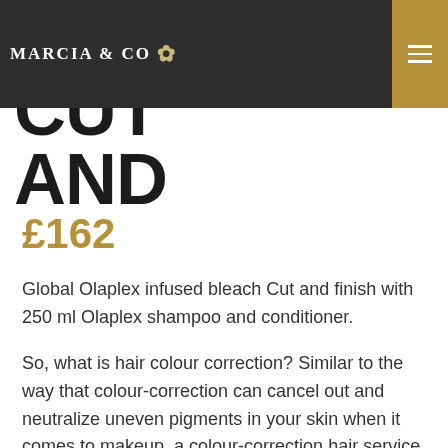BLEACH CUT AND FINISH
MARCIA & CO
£162
Global Olaplex infused bleach Cut and finish with 250 ml Olaplex shampoo and conditioner.
So, what is hair colour correction? Similar to the way that colour-correction can cancel out and neutralize uneven pigments in your skin when it comes to makeup, a colour-correction hair service works in much the same way. Fixing unwanted colour or tones. Your hair colour disaster can easily be fixed in a few ways.
Colour correction involves either toning out